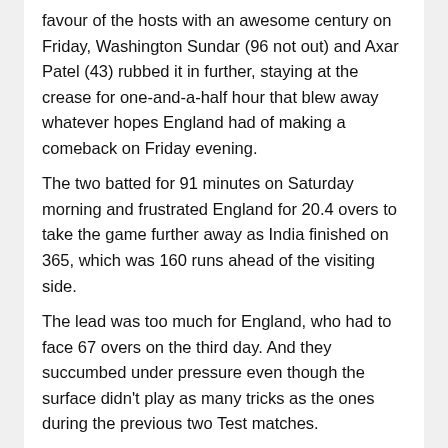favour of the hosts with an awesome century on Friday, Washington Sundar (96 not out) and Axar Patel (43) rubbed it in further, staying at the crease for one-and-a-half hour that blew away whatever hopes England had of making a comeback on Friday evening. The two batted for 91 minutes on Saturday morning and frustrated England for 20.4 overs to take the game further away as India finished on 365, which was 160 runs ahead of the visiting side. The lead was too much for England, who had to face 67 overs on the third day. And they succumbed under pressure even though the surface didn't play as many tricks as the ones during the previous two Test matches. But maybe the next line is cut off...